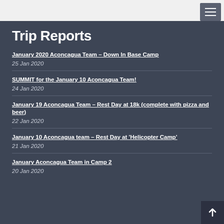Trip Reports
January 2020 Aconcagua Team – Down In Base Camp
25 Jan 2020
SUMMIT for the January 10 Aconcagua Team!
24 Jan 2020
January 19 Aconcagua Team – Rest Day at 18k (complete with pizza and beer)
22 Jan 2020
January 10 Aconcagua team – Rest Day at 'Helicopter Camp'
21 Jan 2020
January Aconcagua Team in Camp 2
20 Jan 2020